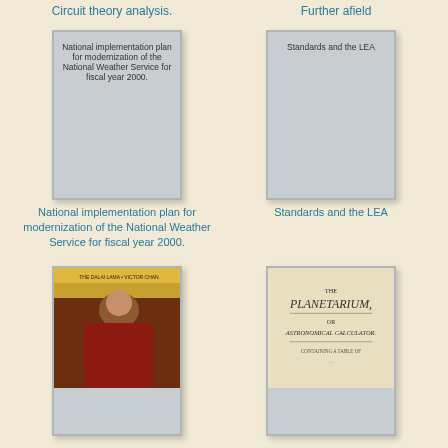Circuit theory analysis.
Further afield
[Figure (illustration): Book cover placeholder for National implementation plan for modernization of the National Weather Service for fiscal year 2000]
[Figure (illustration): Book cover placeholder for Standards and the LEA]
National implementation plan for modernization of the National Weather Service for fiscal year 2000.
Standards and the LEA
[Figure (photo): Photo book cover showing a person, likely the Dalai Lama]
[Figure (illustration): Book cover for The Planetarium: Astronomical Calculator]